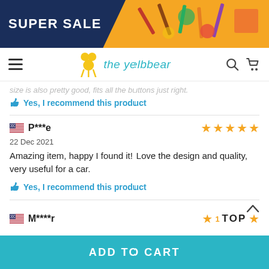[Figure (illustration): Super Sale banner with dark navy background on left with white bold text 'SUPER SALE' and orange/yellow background on right with craft/art supplies visible]
[Figure (logo): The Yelbbear logo: yellow figure icon and teal italic text 'the yelbbear' with hamburger menu, search and cart icons]
size is also pretty good, fits all the buttons just right.
Yes, I recommend this product
P***e
22 Dec 2021
Amazing item, happy I found it! Love the design and quality, very useful for a car.
Yes, I recommend this product
M****r
ADD TO CART